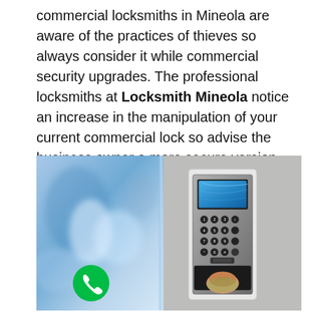commercial locksmiths in Mineola are aware of the practices of thieves so always consider it while commercial security upgrades. The professional locksmiths at Locksmith Mineola notice an increase in the manipulation of your current commercial lock so advise the business owner a more secure version for the company in Mineola.
[Figure (photo): Split image: left side shows a blurred blue/white background with a glass door edge; right side shows a fingerprint biometric access control keypad mounted on a gray wall, with a blue LCD screen and numeric keypad, and a finger pressing the fingerprint scanner at the bottom. A green phone button icon is overlaid at the bottom left.]